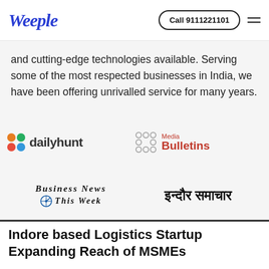Weeple | Call 9111221101
and cutting-edge technologies available. Serving some of the most respected businesses in India, we have been offering unrivalled service for many years.
[Figure (logo): Dailyhunt logo with colorful dot grid icon and bold text]
[Figure (logo): Media Bulletins logo with circle dot grid and red text]
[Figure (logo): Business News This Week logo with compass icon, italic serif text]
[Figure (logo): Indore Samachar logo in Devanagari script: इन्दौर समाचार]
Indore based Logistics Startup Expanding Reach of MSMEs